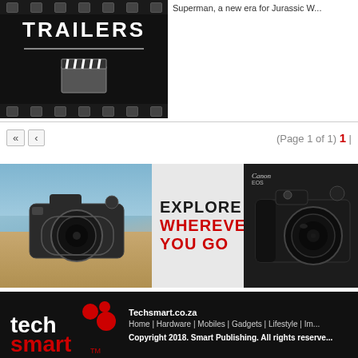[Figure (illustration): TRAILERS movie/film graphic with clapperboard on dark background with film strip borders]
Superman, a new era for Jurassic W...
(Page 1 of 1) 1 |
[Figure (photo): Canon camera advertisement: DSLR camera on wooden surface with blue water background, text EXPLORE WHEREVER YOU GO, and Canon EOS R10 camera on black background]
[Figure (logo): TechSmart logo - tech smart text with red dots]
Techsmart.co.za
Home | Hardware | Mobiles | Gadgets | Lifestyle | Im...
Copyright 2018. Smart Publishing. All rights reserve...